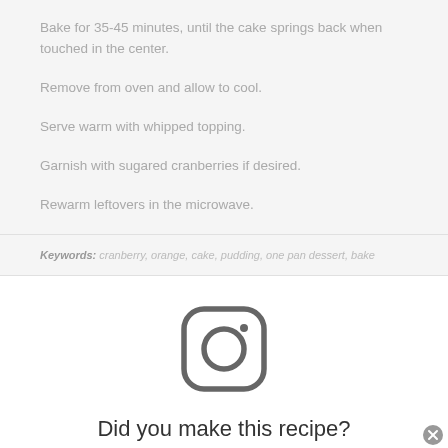Bake for 35-45 minutes, until the cake springs back when touched in the center.
Remove from oven and allow to cool.
Serve warm with whipped topping.
Garnish with sugared cranberries if desired.
Rewarm leftovers in the microwave.
Keywords: cranberry, orange, cake, pudding, one pan dessert, bake
[Figure (logo): Instagram logo icon in gray]
Did you make this recipe?